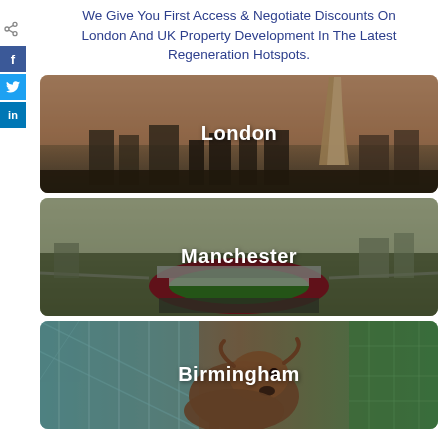We Give You First Access & Negotiate Discounts On London And UK Property Development In The Latest Regeneration Hotspots.
[Figure (photo): London skyline at dusk featuring The Shard and city buildings with overlay text 'London']
[Figure (photo): Aerial view of Manchester with Old Trafford stadium visible and overlay text 'Manchester']
[Figure (photo): Birmingham Bull statue in front of Bullring shopping centre glass facade with overlay text 'Birmingham']